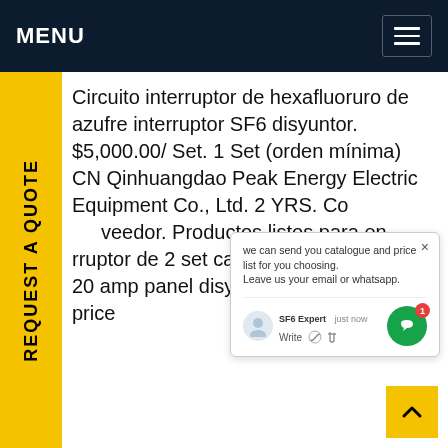MENU
Circuito interruptor de hexafluoruro de azufre interruptor SF6 disyuntor. $5,000.00/ Set. 1 Set (orden mínima) CN Qinhuangdao Peak Energy Electric Equipment Co., Ltd. 2 YRS. Contactar veedor. Productos listos para en... rruptor de 2 set caja disyuntor 20... yuntor 20 amp panel disyuntor 20... quitoGet price
[Figure (screenshot): Chat popup with message: we can send you catalogue and price list for you choosing. Leave us your email or whatsapp. SF6 Expert - just now. Write with thumbs up and attachment icons.]
[Figure (other): Back to top yellow button with caret up arrow]